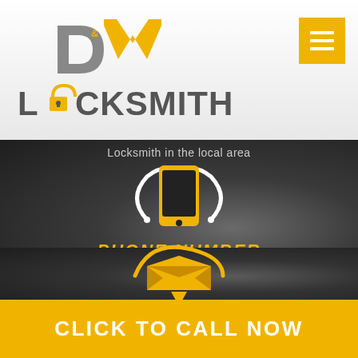[Figure (logo): D&M Locksmith logo with yellow and grey stylized letters and a padlock]
[Figure (other): Yellow hamburger menu icon on orange/yellow square background]
Locksmith in the local area
[Figure (illustration): White and yellow smartphone/phone icon with circular swoop]
PHONE NUMBER
(714) 794-9976
[Figure (illustration): Yellow email/message icon with arrow]
CLICK TO CALL NOW